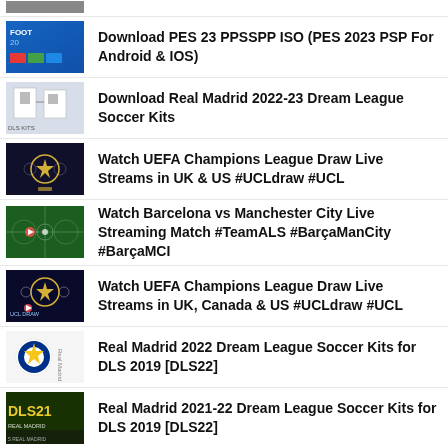[partial thumbnail] [partial title]
Download PES 23 PPSSPP ISO (PES 2023 PSP For Android & IOS)
Download Real Madrid 2022-23 Dream League Soccer Kits
Watch UEFA Champions League Draw Live Streams in UK & US #UCLdraw #UCL
Watch Barcelona vs Manchester City Live Streaming Match #TeamALS #BarçaManCity #BarçaMCI
Watch UEFA Champions League Draw Live Streams in UK, Canada & US #UCLdraw #UCL
Real Madrid 2022 Dream League Soccer Kits for DLS 2019 [DLS22]
Real Madrid 2021-22 Dream League Soccer Kits for DLS 2019 [DLS22]
Download Dream League Soccer 2023 OBB APK (DLS 23) Unlimited Coins